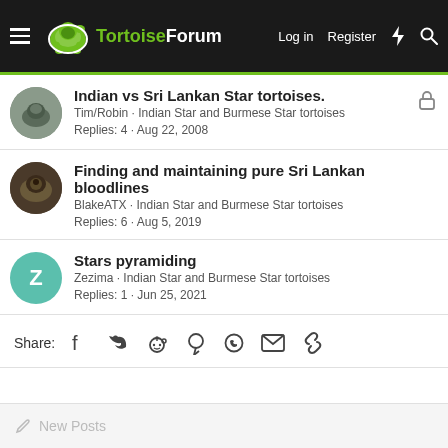TortoiseForum | Log in | Register
Indian vs Sri Lankan Star tortoises. Tim/Robin · Indian Star and Burmese Star tortoises Replies: 4 · Aug 22, 2008
Finding and maintaining pure Sri Lankan bloodlines BlakeATX · Indian Star and Burmese Star tortoises Replies: 6 · Aug 5, 2019
Stars pyramiding Zezima · Indian Star and Burmese Star tortoises Replies: 1 · Jun 25, 2021
Share:
New Posts